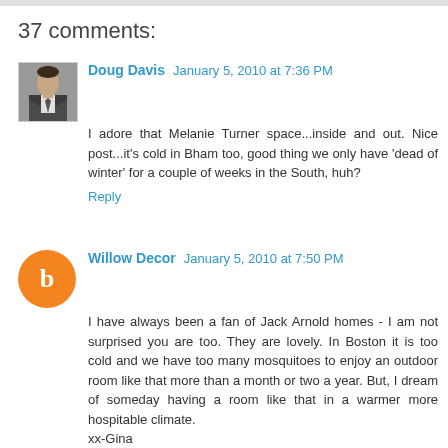37 comments:
Doug Davis  January 5, 2010 at 7:36 PM
I adore that Melanie Turner space...inside and out. Nice post...it's cold in Bham too, good thing we only have 'dead of winter' for a couple of weeks in the South, huh?
Reply
Willow Decor  January 5, 2010 at 7:50 PM
I have always been a fan of Jack Arnold homes - I am not surprised you are too. They are lovely. In Boston it is too cold and we have too many mosquitoes to enjoy an outdoor room like that more than a month or two a year. But, I dream of someday having a room like that in a warmer more hospitable climate.
xx-Gina
Reply